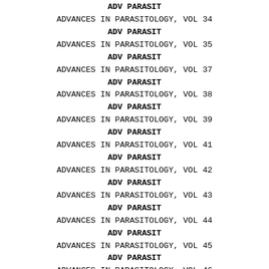ADV PARASIT
ADVANCES IN PARASITOLOGY, VOL 34
ADV PARASIT
ADVANCES IN PARASITOLOGY, VOL 35
ADV PARASIT
ADVANCES IN PARASITOLOGY, VOL 37
ADV PARASIT
ADVANCES IN PARASITOLOGY, VOL 38
ADV PARASIT
ADVANCES IN PARASITOLOGY, VOL 39
ADV PARASIT
ADVANCES IN PARASITOLOGY, VOL 41
ADV PARASIT
ADVANCES IN PARASITOLOGY, VOL 42
ADV PARASIT
ADVANCES IN PARASITOLOGY, VOL 43
ADV PARASIT
ADVANCES IN PARASITOLOGY, VOL 44
ADV PARASIT
ADVANCES IN PARASITOLOGY, VOL 45
ADV PARASIT
ADVANCES IN PARASITOLOGY, VOL 46
ADV PARASIT
ADVANCES IN PARASITOLOGY, VOL 47
ADV PARASIT
ADVANCES IN PARASITOLOGY, VOL 48
ADV PARASIT
ADVANCES IN PARASITOLOGY, VOL 49
ADV PARASIT
ADVANCES IN PARASITOLOGY, VOL 50